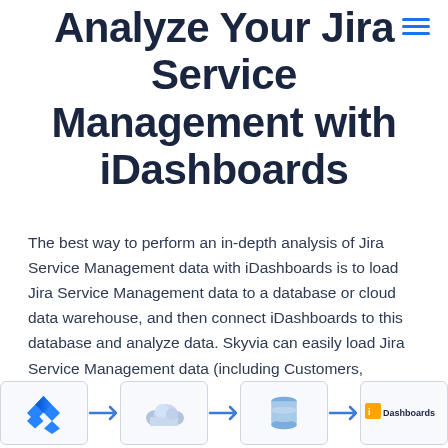Analyze Your Jira Service Management with iDashboards
The best way to perform an in-depth analysis of Jira Service Management data with iDashboards is to load Jira Service Management data to a database or cloud data warehouse, and then connect iDashboards to this database and analyze data. Skyvia can easily load Jira Service Management data (including Customers, Organizations, Requests, etc.) to a database or a cloud data warehouse of your choice.
[Figure (infographic): Diagram strip showing Jira Service Management logo, arrow, cloud icon, arrow, database icon, arrow, iDashboards logo — illustrating the data flow pipeline.]